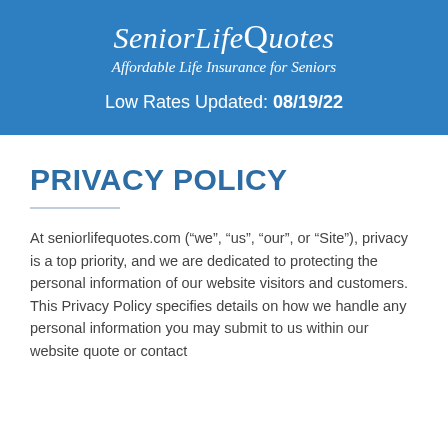SeniorLifeQuotes
Affordable Life Insurance for Seniors
Low Rates Updated: 08/19/22
PRIVACY POLICY
At seniorlifequotes.com (“we”, “us”, “our”, or “Site”), privacy is a top priority, and we are dedicated to protecting the personal information of our website visitors and customers. This Privacy Policy specifies details on how we handle any personal information you may submit to us within our website quote or contact